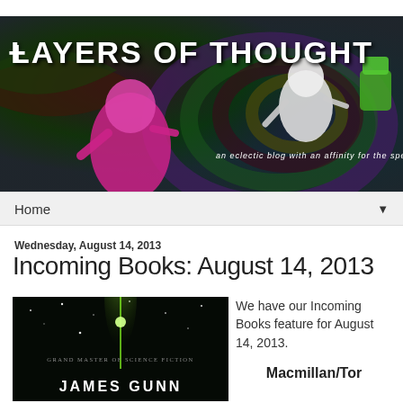[Figure (illustration): Layers of Thought blog banner with psychedelic colorful background, astronaut figures, and white bold title text reading LAYERS OF THOUGHT with subtitle 'an eclectic blog with an affinity for the speculative']
Home ▼
Wednesday, August 14, 2013
Incoming Books: August 14, 2013
[Figure (illustration): Book cover showing dark space background with a green glowing light beam, text reading GRAND MASTER OF SCIENCE FICTION and JAMES GUNN]
We have our Incoming Books feature for August 14, 2013.
Macmillan/Tor